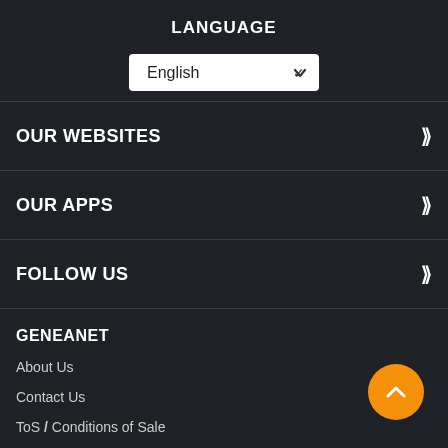LANGUAGE
English (dropdown selector)
OUR WEBSITES
OUR APPS
FOLLOW US
GENEANET
About Us
Contact Us
ToS / Conditions of Sale
DNA Code of Ethics